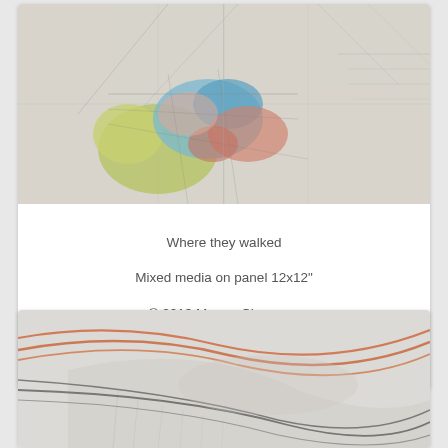[Figure (illustration): Mixed media artwork showing a colorful map fragment with blue, yellow, green, and red areas layered on a pale gray textured panel background with pencil-like crossing lines]
Where they walked
Mixed media on panel 12x12"
© 2013 Megan Chapman
$275
[Figure (illustration): Abstract mixed media artwork on a pale gray-white ground showing flowing curved orange and dark gray/black lines sweeping across the panel with subtle texture and vertical marks]